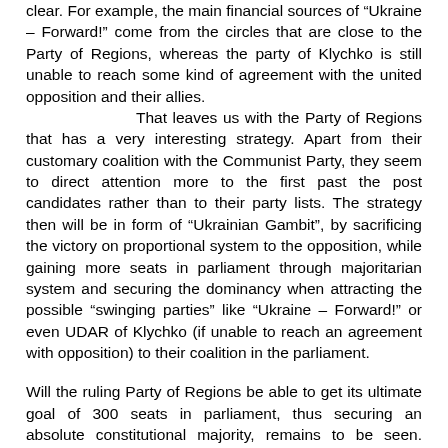clear. For example, the main financial sources of “Ukraine – Forward!” come from the circles that are close to the Party of Regions, whereas the party of Klychko is still unable to reach some kind of agreement with the united opposition and their allies.

That leaves us with the Party of Regions that has a very interesting strategy. Apart from their customary coalition with the Communist Party, they seem to direct attention more to the first past the post candidates rather than to their party lists. The strategy then will be in form of “Ukrainian Gambit”, by sacrificing the victory on proportional system to the opposition, while gaining more seats in parliament through majoritarian system and securing the dominancy when attracting the possible “swinging parties” like “Ukraine – Forward!” or even UDAR of Klychko (if unable to reach an agreement with opposition) to their coalition in the parliament.

Will the ruling Party of Regions be able to get its ultimate goal of 300 seats in parliament, thus securing an absolute constitutional majority, remains to be seen. Much will depend on if the new parties will be willing to make their own gambit